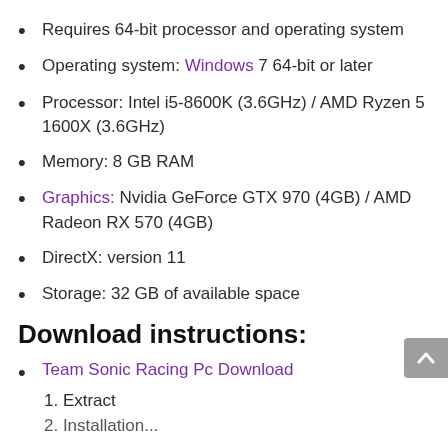Requires 64-bit processor and operating system
Operating system: Windows 7 64-bit or later
Processor: Intel i5-8600K (3.6GHz) / AMD Ryzen 5 1600X (3.6GHz)
Memory: 8 GB RAM
Graphics: Nvidia GeForce GTX 970 (4GB) / AMD Radeon RX 570 (4GB)
DirectX: version 11
Storage: 32 GB of available space
Download instructions:
Team Sonic Racing Pc Download
1. Extract
2. Installation...